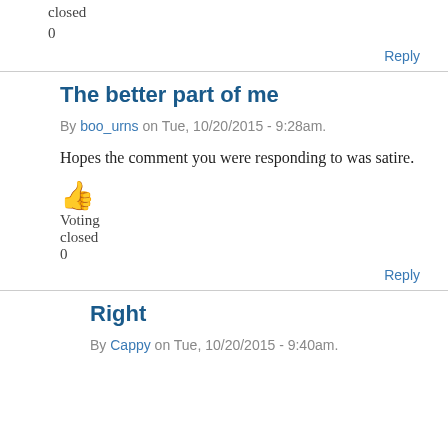closed
0
Reply
The better part of me
By boo_urns on Tue, 10/20/2015 - 9:28am.
Hopes the comment you were responding to was satire.
[Figure (illustration): Orange thumbs up emoji icon]
Voting
closed
0
Reply
Right
By Cappy on Tue, 10/20/2015 - 9:40am.